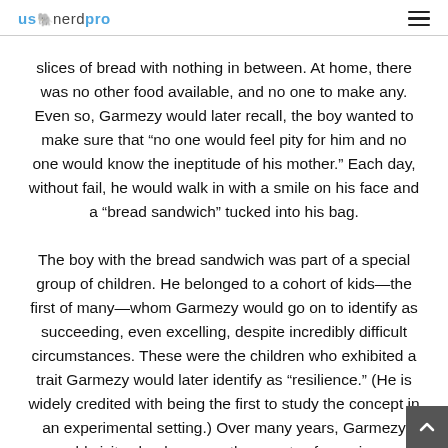usnerdpro
slices of bread with nothing in between. At home, there was no other food available, and no one to make any. Even so, Garmezy would later recall, the boy wanted to make sure that “no one would feel pity for him and no one would know the ineptitude of his mother.” Each day, without fail, he would walk in with a smile on his face and a “bread sandwich” tucked into his bag.
The boy with the bread sandwich was part of a special group of children. He belonged to a cohort of kids—the first of many—whom Garmezy would go on to identify as succeeding, even excelling, despite incredibly difficult circumstances. These were the children who exhibited a trait Garmezy would later identify as “resilience.” (He is widely credited with being the first to study the concept in an experimental setting.) Over many years, Garmezy would visit schools across the country, focussing on